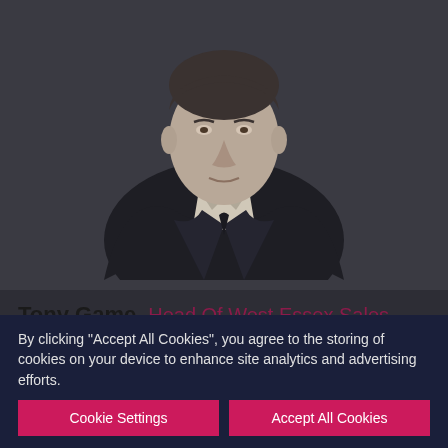[Figure (photo): Professional headshot of Tony Game, a man in a dark suit with a light shirt, photographed against a dark background, grayscale/muted tone]
Tony Game   Head Of West Essex Sales
Raised in Loughton and residing in Buckhurst Hill, Tony's has an intimate knowledge of West Essex which proves an invaluable asset when selling properties within the area. A respected and well known figure within the local property industry, Tony has years of experience running residential sales departments. Tony's clients respect his hardworking approach and refreshingly honest opinion, even when it isn't what they want to hear! Tony is a big sports fan following
By clicking "Accept All Cookies", you agree to the storing of cookies on your device to enhance site analytics and advertising efforts.
Cookie Settings
Accept All Cookies